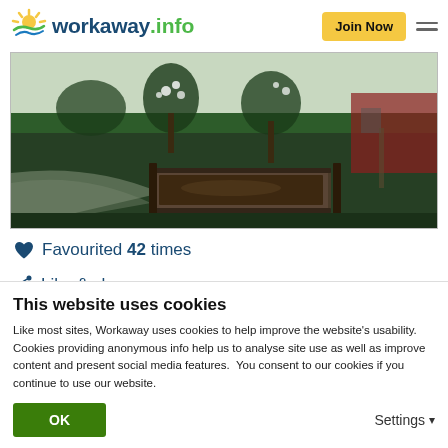workaway.info — Join Now
[Figure (photo): Garden photo showing a raised wooden planting bed surrounded by green grass, with trees and a red building in the background, taken in spring.]
♥ Favourited 42 times
< Like & share ▾
This website uses cookies
Like most sites, Workaway uses cookies to help improve the website's usability. Cookies providing anonymous info help us to analyse site use as well as improve content and present social media features.  You consent to our cookies if you continue to use our website.
OK    Settings ▾